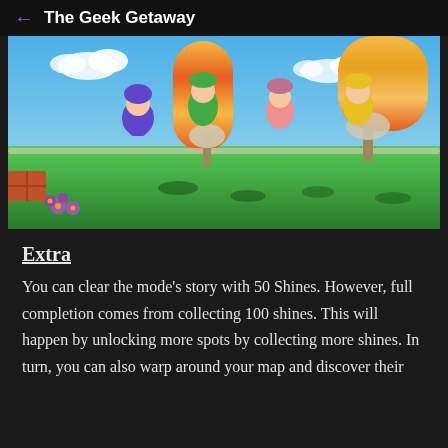← The Geek Getaway
[Figure (screenshot): Screenshot from a Super Mario 3D World style game showing four characters in cat suits jumping in a colorful level with giant mushroom-like structures and daisy flowers on a green field.]
Extra
You can clear the mode's story with 50 Shines. However, full completion comes from collecting 100 shines. This will happen by unlocking more spots by collecting more shines. In turn, you can also warp around your map and discover their